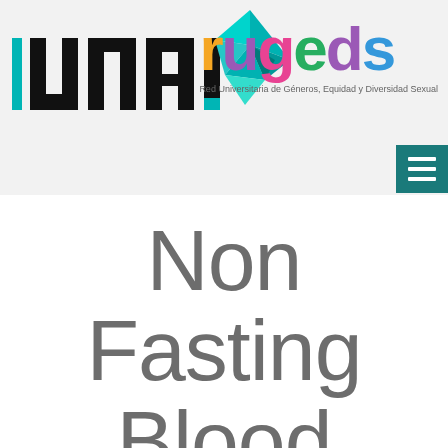[Figure (logo): USAL university logo with teal vertical bar on right side, and origami bird/arrow logo in teal geometric shapes]
[Figure (logo): RUGEDS logo in multicolor letters (orange R, purple U, pink G, green E, purple D, blue S) with subtitle 'Red Universitaria de Géneros, Equidad y Diversidad Sexual']
[Figure (other): Teal hamburger menu button (three horizontal white lines on teal background) in upper right corner]
Non Fasting Blood